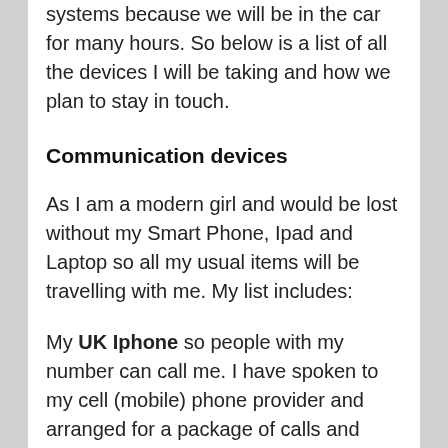systems because we will be in the car for many hours.  So below is a list of all the devices I will be taking and how we plan to stay in touch.
Communication devices
As I am a modern girl and would be lost without my Smart Phone, Ipad and Laptop so all my usual items will be travelling with me.  My list includes:
My UK Iphone so people with my number can call me.  I have spoken to my cell (mobile) phone provider and arranged for a package of calls and texts whilst in USA.  I do not plan to use this phone for data roaming unless in an